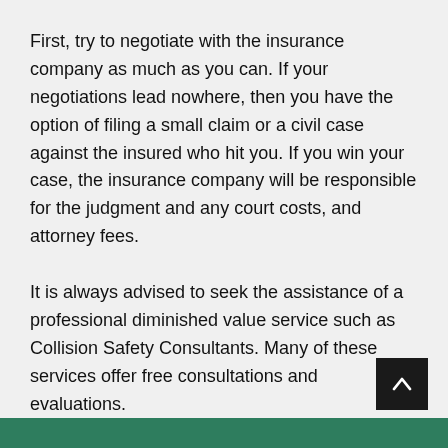First, try to negotiate with the insurance company as much as you can. If your negotiations lead nowhere, then you have the option of filing a small claim or a civil case against the insured who hit you. If you win your case, the insurance company will be responsible for the judgment and any court costs, and attorney fees.
It is always advised to seek the assistance of a professional diminished value service such as Collision Safety Consultants. Many of these services offer free consultations and evaluations.